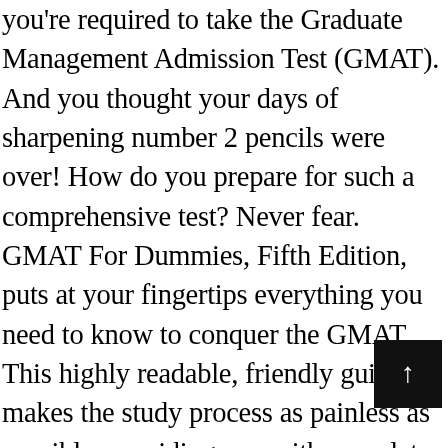you're required to take the Graduate Management Admission Test (GMAT). And you thought your days of sharpening number 2 pencils were over! How do you prepare for such a comprehensive test? Never fear. GMAT For Dummies, Fifth Edition, puts at your fingertips everything you need to know to conquer the GMAT. This highly readable, friendly guide makes the study process as painless as possible, providing you with complete math and grammar reviews and all the preparation you need to maximize your score and outsmart your competition. You'll discover how to: Understand the test's format Bring the right stuff Make educated guesses Avoid the exam's pi† Calm your nerves Save time and beat the clock This Fifth Edition is packed with chapter-format changes